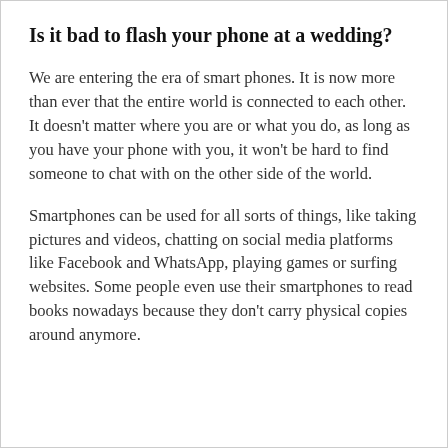Is it bad to flash your phone at a wedding?
We are entering the era of smart phones. It is now more than ever that the entire world is connected to each other. It doesn't matter where you are or what you do, as long as you have your phone with you, it won't be hard to find someone to chat with on the other side of the world.
Smartphones can be used for all sorts of things, like taking pictures and videos, chatting on social media platforms like Facebook and WhatsApp, playing games or surfing websites. Some people even use their smartphones to read books nowadays because they don't carry physical copies around anymore.